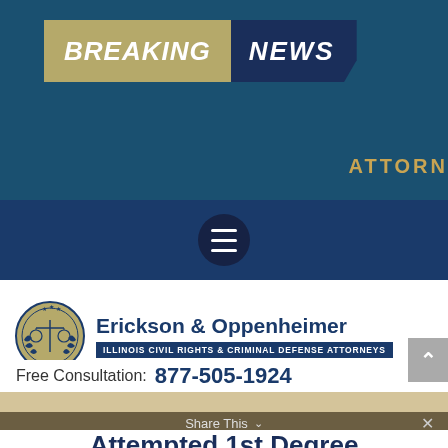[Figure (logo): Breaking News banner with gold 'BREAKING' and dark navy 'NEWS' text on dark teal background, with 'ATTORN' partially visible at right]
[Figure (illustration): Navigation bar with hamburger menu icon (three horizontal lines in dark circle) on dark navy background]
[Figure (logo): Erickson & Oppenheimer law firm logo with scales of justice seal and firm name, tagline 'ILLINOIS CIVIL RIGHTS & CRIMINAL DEFENSE ATTORNEYS']
Free Consultation: 877-505-1924
Attempted 1st Degree